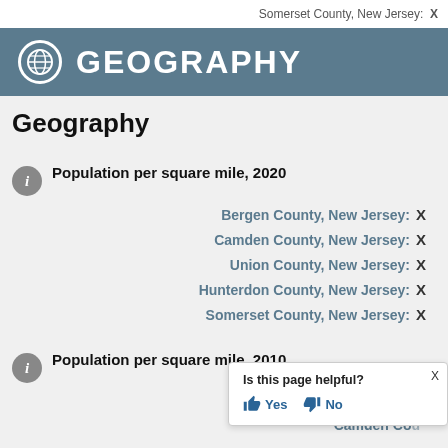Somerset County, New Jersey:  X
⊕  GEOGRAPHY
Geography
ℹ  Population per square mile, 2020
Bergen County, New Jersey:  X
Camden County, New Jersey:  X
Union County, New Jersey:  X
Hunterdon County, New Jersey:  X
Somerset County, New Jersey:  X
ℹ  Population per square mile, 2010
Bergen Co...
Camden Co...
Is this page helpful?  Yes  No